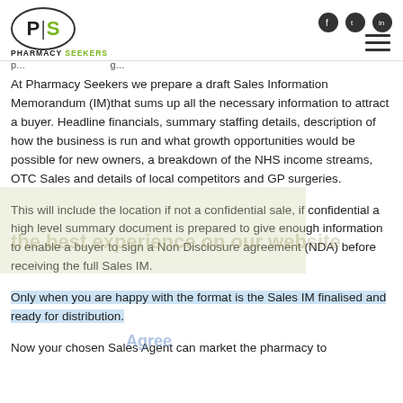PHARMACY SEEKERS logo with social icons and navigation
At Pharmacy Seekers we prepare a draft Sales Information Memorandum (IM)that sums up all the necessary information to attract a buyer. Headline financials, summary staffing details, description of how the business is run and what growth opportunities would be possible for new owners, a breakdown of the NHS income streams, OTC Sales and details of local competitors and GP surgeries.
This will include the location if not a confidential sale, if confidential a high level summary document is prepared to give enough information to enable a buyer to sign a Non Disclosure agreement (NDA) before receiving the full Sales IM.
Only when you are happy with the format is the Sales IM finalised and ready for distribution.
Now your chosen Sales Agent can market the pharmacy to